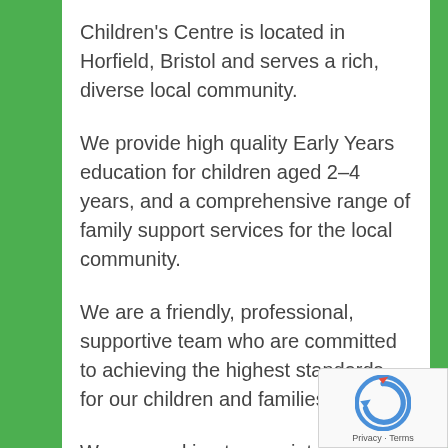Children's Centre is located in Horfield, Bristol and serves a rich, diverse local community.
We provide high quality Early Years education for children aged 2–4 years, and a comprehensive range of family support services for the local community.
We are a friendly, professional, supportive team who are committed to achieving the highest standards for our children and families.
We are seeking to appoint an excellent, enthusiastic and creative EY Worker with